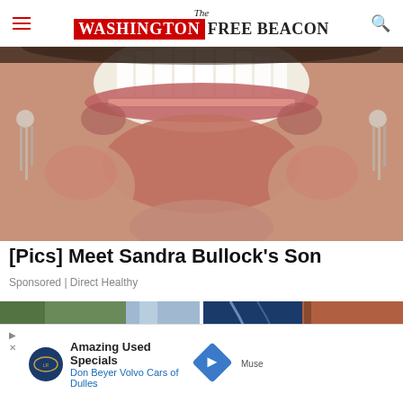The Washington Free Beacon
[Figure (photo): Close-up cropped photo showing a smiling person's teeth and lower face with dangling earrings]
[Pics] Meet Sandra Bullock's Son
Sponsored | Direct Healthy
[Figure (photo): Group photo of four people outdoors in a forest/nature setting, appearing to be Barack Obama and family]
[Figure (photo): Photo of a smiling woman with shoulder-length hair against a blue geometric background]
[Pics] Obama's Home Is Gorgeous, Let's Take A
From Temp to Senior Manager: How an HR ...ned Six...
Muse
[Figure (infographic): Advertisement banner: Amazing Used Specials - Don Beyer Volvo Cars of Dulles, with Land Rover logo and navigation arrow icon]